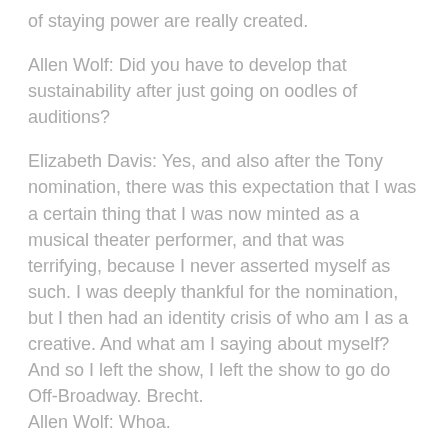of staying power are really created.
Allen Wolf: Did you have to develop that sustainability after just going on oodles of auditions?
Elizabeth Davis: Yes, and also after the Tony nomination, there was this expectation that I was a certain thing that I was now minted as a musical theater performer, and that was terrifying, because I never asserted myself as such. I was deeply thankful for the nomination, but I then had an identity crisis of who am I as a creative. And what am I saying about myself? And so I left the show, I left the show to go do Off-Broadway. Brecht.
Allen Wolf: Whoa.
Elizabeth Davis: I'm looking at a show poster of Christopher Lloyd. Christopher Lloyd. There he is